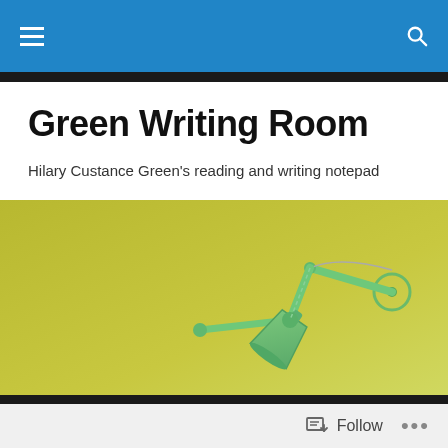Green Writing Room — navigation bar with hamburger menu and search icon
Green Writing Room
Hilary Custance Green's reading and writing notepad
[Figure (photo): A green anglepoise/architect lamp with articulated arm mounted against a yellow-green wall background]
TAGGED WITH PRISONER ON THE KWAI
Prisoner on the Kwai
Follow  •••